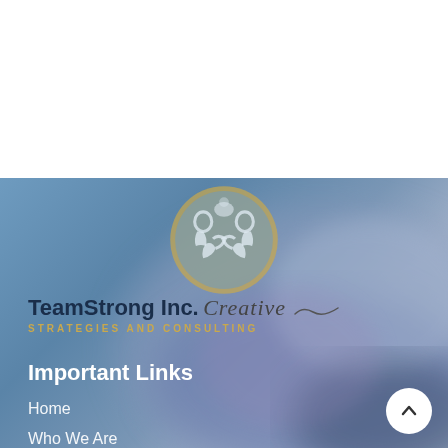[Figure (logo): TeamStrong Inc. circular logo — two muscular arm figures facing each other, blue background, gold ring border — top left of nav bar]
[Figure (illustration): Three horizontal bar hamburger menu icon, top right]
[Figure (photo): Blurred blue-toned background photo of a laptop, covering the lower portion of the page]
[Figure (logo): TeamStrong Inc. circular logo centered in the upper portion of the blue background area]
TeamStrong Inc. Creative STRATEGIES AND CONSULTING
Important Links
Home
Who We Are
About Us
Our Work